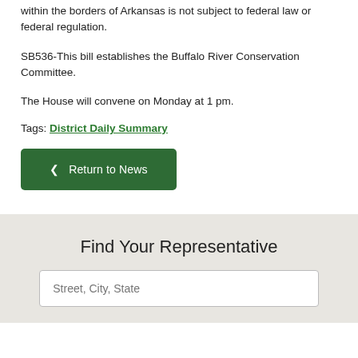within the borders of Arkansas is not subject to federal law or federal regulation.
SB536-This bill establishes the Buffalo River Conservation Committee.
The House will convene on Monday at 1 pm.
Tags: District Daily Summary
◄ Return to News
Find Your Representative
Street, City, State